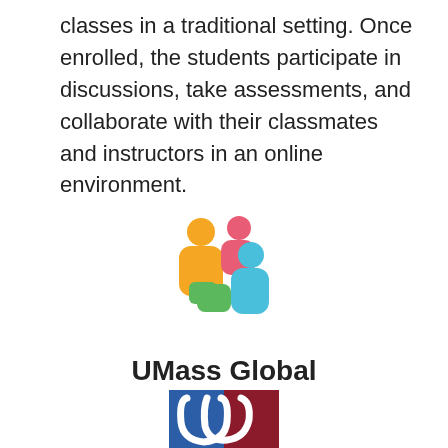classes in a traditional setting. Once enrolled, the students participate in discussions, take assessments, and collaborate with their classmates and instructors in an online environment.
[Figure (logo): Colorful group of people icons logo — orange, pink/red, teal/blue, and green figures arranged together, representing a learning community or collaborative group.]
UMass Global
[Figure (logo): UMass Global university logo — blue and dark red/maroon square with stylized white cursive 'U' letterform overlapping, partial view of text below partially cut off.]